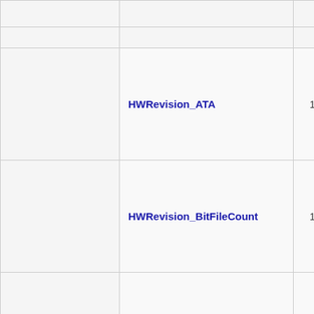| Name | ID | Version |
| --- | --- | --- |
|  |  |  |
| HWRevision_ATA | 151 | 4.05 - 7. |
| HWRevision_BitFileCount | 151 | 4.05 - 7. |
| HWSubRevision (avmenv) | 122 | 3.96 - 7. |
|  |  |  |